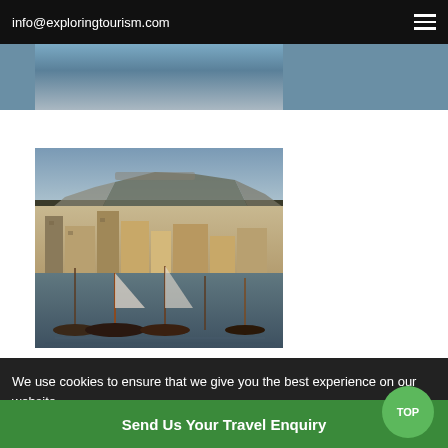info@exploringtourism.com
[Figure (photo): Partial top portion of a travel/scenic photo]
[Figure (photo): Waterfront harbor scene in Cape Town with Table Mountain in background, boats docked in foreground, colorful buildings along the quay]
CHECK OUT SIMILAR TOUR PACKAGES
We use cookies to ensure that we give you the best experience on our website   Accept   Cookies Policy
Send Us Your Travel Enquiry